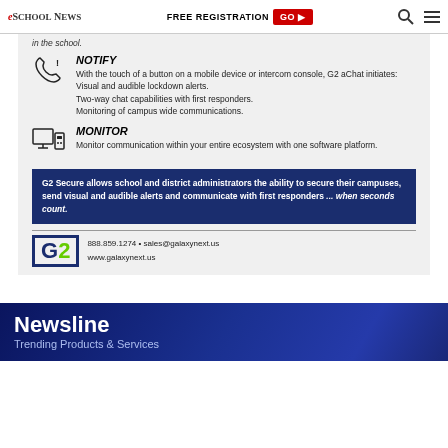eSchool News | FREE REGISTRATION GO
in the school.
NOTIFY
With the touch of a button on a mobile device or intercom console, G2 aChat initiates:
Visual and audible lockdown alerts.
Two-way chat capabilities with first responders.
Monitoring of campus wide communications.
MONITOR
Monitor communication within your entire ecosystem with one software platform.
G2 Secure allows school and district administrators the ability to secure their campuses, send visual and audible alerts and communicate with first responders ... when seconds count.
888.859.1274 • sales@galaxynext.us
www.galaxynext.us
Newsline
Trending Products & Services